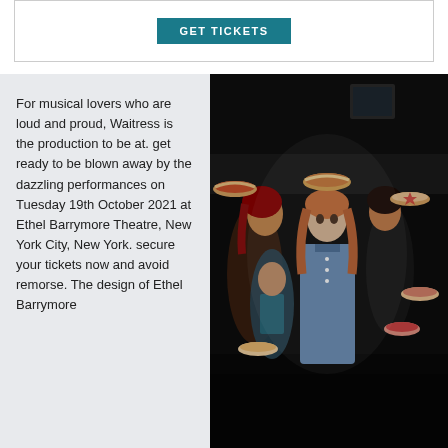[Figure (other): GET TICKETS button in teal/dark cyan color on white background with border]
[Figure (photo): Stage photo from Waitress musical showing performers in a diner setting holding pies, central figure in blue waitress uniform surrounded by other cast members]
For musical lovers who are loud and proud, Waitress is the production to be at. get ready to be blown away by the dazzling performances on Tuesday 19th October 2021 at Ethel Barrymore Theatre, New York City, New York. secure your tickets now and avoid remorse. The design of Ethel Barrymore